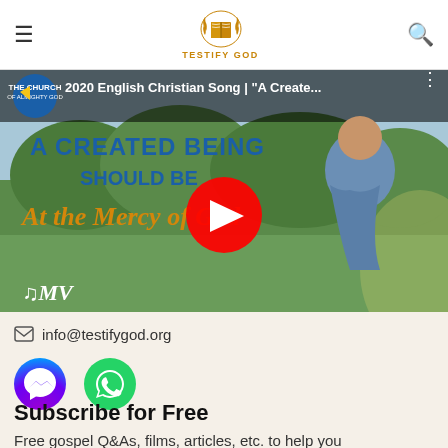TESTIFY GOD
[Figure (screenshot): YouTube video thumbnail showing '2020 English Christian Song | A Create...' with text 'A CREATED BEING SHOULD BE At the Mercy of God' and a girl singing outdoors. YouTube play button overlay visible. Music MV logo in bottom left.]
info@testifygod.org
[Figure (illustration): Facebook Messenger purple icon and WhatsApp green icon side by side]
Subscribe for Free
Free gospel Q&As, films, articles, etc. to help you